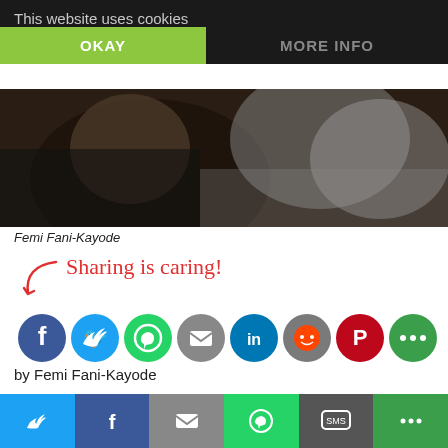This website uses cookies
[Figure (photo): Partial photo of Femi Fani-Kayode, cropped, showing upper body in dark clothing]
Femi Fani-Kayode
[Figure (infographic): Sharing is caring! text with arrow and social media share icons: Facebook, Twitter, WhatsApp, Email, LinkedIn, Reddit, Pinterest, More]
by Femi Fani-Kayode
ALSO READ: Femi Fani-Kayode: APC's Strange Dream Of A Muslim-Muslim Presidential Ticket
All the clever rationalisations and justifications in the world for
[Figure (infographic): Bottom social share bar with Twitter, Facebook, Email, WhatsApp, SMS, More buttons]